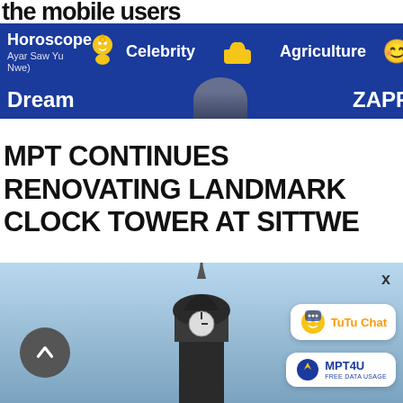the mobile users
[Figure (screenshot): Navigation banner with blue background showing menu items: Horoscope (Ayar Saw Yu Nwe), Celebrity, Agriculture, Dream, ZAPP, with emoji icons including lightbulb and thumbs up]
MPT CONTINUES RENOVATING LANDMARK CLOCK TOWER AT SITTWE
[Figure (photo): Photo of a clock tower top against a blue sky, with TuTu Chat and MPT4U app buttons overlaid, a scroll-up button bottom left, and an X close button top right]